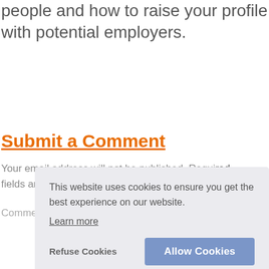people and how to raise your profile with potential employers.
Submit a Comment
Your email address will not be published. Required fields are marked *
Comment *
This website uses cookies to ensure you get the best experience on our website.
Learn more
Refuse Cookies
Allow Cookies